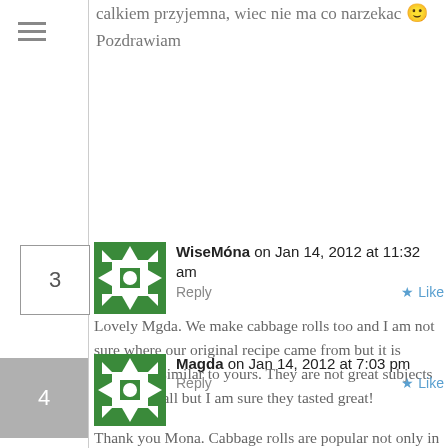calkiem przyjemna, wiec nie ma co narzekac 🙂 Pozdrawiam
WiseMóna on Jan 14, 2012 at 11:32 am   Reply   Like
Lovely Mgda. We make cabbage rolls too and I am not sure where our original recipe came from but it is somewhat similar to yours. They are not great subjects to shoot at all but I am sure they tasted great!
Magda on Jan 14, 2012 at 7:03 pm   Reply   Like
Thank you Mona. Cabbage rolls are popular not only in Eastern